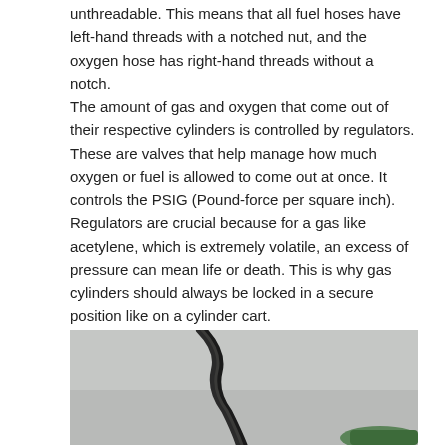unthreadable. This means that all fuel hoses have left-hand threads with a notched nut, and the oxygen hose has right-hand threads without a notch.
The amount of gas and oxygen that come out of their respective cylinders is controlled by regulators. These are valves that help manage how much oxygen or fuel is allowed to come out at once. It controls the PSIG (Pound-force per square inch). Regulators are crucial because for a gas like acetylene, which is extremely volatile, an excess of pressure can mean life or death. This is why gas cylinders should always be locked in a secure position like on a cylinder cart.
[Figure (photo): Close-up photograph showing what appears to be a dark crack or weld line against a light grey background, with a green object visible at the bottom right corner.]